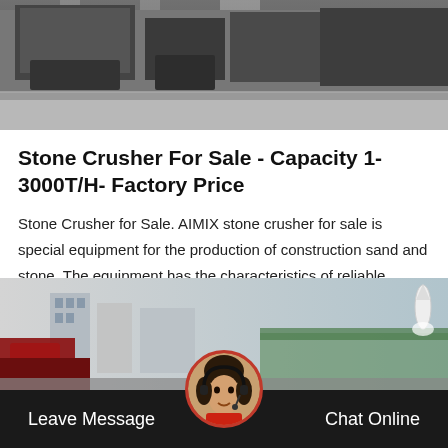[Figure (photo): Top portion of industrial stone crusher machinery, dark gray metal equipment on a light gray floor, close-up view]
Stone Crusher For Sale - Capacity 1-3000T/H- Factory Price
Stone Crusher for Sale. AIMIX stone crusher for sale is special equipment for the production of construction sand and stone. The equipment has the characteristics of reliable performance, reasonable design, convenient operation, and high work efficienc…
Get Price
[Figure (photo): Wide-angle photo of a stone crushing plant facility with industrial buildings and machinery in outdoor setting]
Leave Message
Chat Online